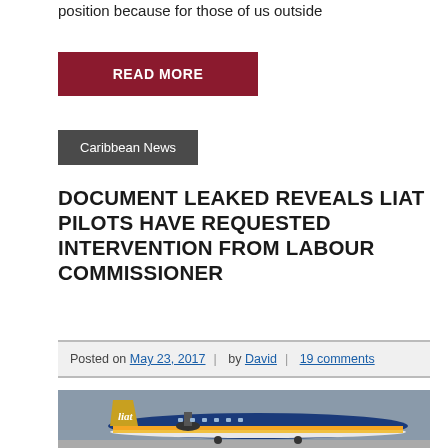position because for those of us outside
READ MORE
Caribbean News
DOCUMENT LEAKED REVEALS LIAT PILOTS HAVE REQUESTED INTERVENTION FROM LABOUR COMMISSIONER
Posted on May 23, 2017 | by David | 19 comments
[Figure (photo): A LIAT airline turboprop aircraft on the tarmac, viewed from the side showing the tail and fuselage with LIAT branding in blue, orange, and yellow livery against a grey sky.]